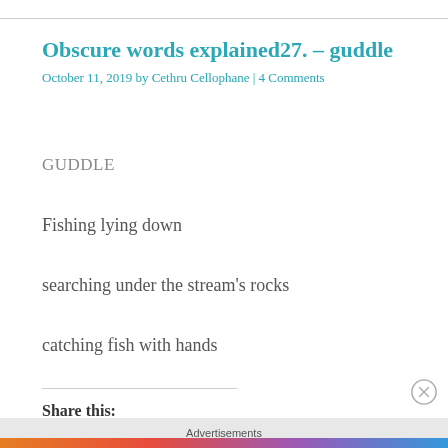Obscure words explained27. – guddle
October 11, 2019 by Cethru Cellophane | 4 Comments
GUDDLE
Fishing lying down
searching under the stream's rocks
catching fish with hands
Share this:
Advertisements